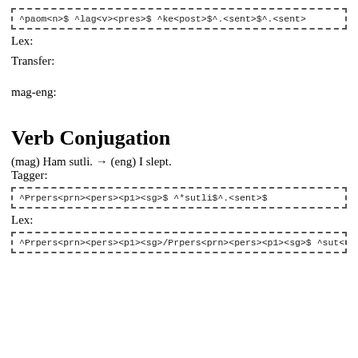^paom<n>$ ^lag<v><pres>$ ^ke<post>$^.<sent>$^.<sent>
Lex:
Transfer:
mag-eng:
Verb Conjugation
(mag) Ham sutli. → (eng) I slept.
Tagger:
^Prpers<prn><pers><p1><sg>$ ^*sutli$^.<sent>$
Lex:
^Prpers<prn><pers><p1><sg>/Prpers<prn><pers><p1><sg>$ ^sut<v><past><s